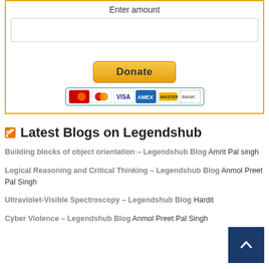[Figure (screenshot): Donation widget with 'Enter amount' label, empty text input box, yellow Donate button, and payment method icons (credit cards, Visa, AmEx, bank)]
Latest Blogs on Legendshub
Building blocks of object orientation – Legendshub Blog Amrit Pal singh
Logical Reasoning and Critical Thinking – Legendshub Blog Anmol Preet Pal Singh
Ultraviolet-Visible Spectroscopy – Legendshub Blog Hardit
Cyber Violence – Legendshub Blog Anmol Preet Pal Singh